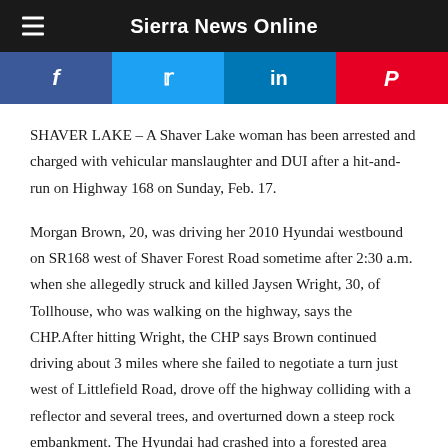Sierra News Online
[Figure (infographic): Social sharing buttons: Facebook (blue), Twitter (light blue), LinkedIn (dark blue), Pinterest (red)]
SHAVER LAKE – A Shaver Lake woman has been arrested and charged with vehicular manslaughter and DUI after a hit-and-run on Highway 168 on Sunday, Feb. 17.
Morgan Brown, 20, was driving her 2010 Hyundai westbound on SR168 west of Shaver Forest Road sometime after 2:30 a.m. when she allegedly struck and killed Jaysen Wright, 30, of Tollhouse, who was walking on the highway, says the CHP.After hitting Wright, the CHP says Brown continued driving about 3 miles where she failed to negotiate a turn just west of Littlefield Road, drove off the highway colliding with a reflector and several trees, and overturned down a steep rock embankment. The Hyundai had crashed into a forested area where it was not visible to passing motorists.